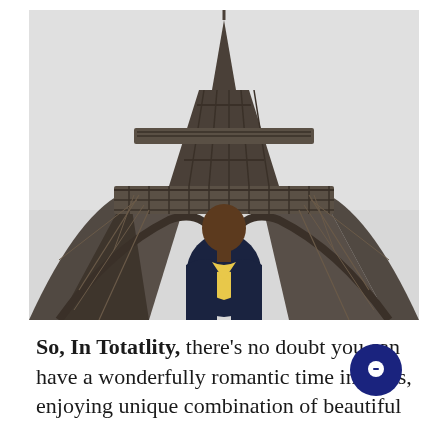[Figure (photo): A man in a dark blazer and yellow shirt standing in front of the Eiffel Tower in Paris, photographed from a low angle showing the tower's iron lattice structure overhead.]
So, In Totatlity, there's no doubt you can have a wonderfully romantic time in Paris, enjoying unique combination of beautiful